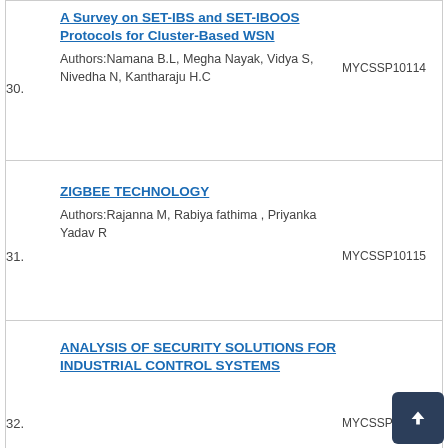30. A Survey on SET-IBS and SET-IBOOS Protocols for Cluster-Based WSN — Authors: Namana B.L, Megha Nayak, Vidya S, Nivedha N, Kantharaju H.C — MYCSSP10114
31. ZIGBEE TECHNOLOGY — Authors: Rajanna M, Rabiya fathima , Priyanka Yadav R — MYCSSP10115
32. ANALYSIS OF SECURITY SOLUTIONS FOR INDUSTRIAL CONTROL SYSTEMS — MYCSSP1011...